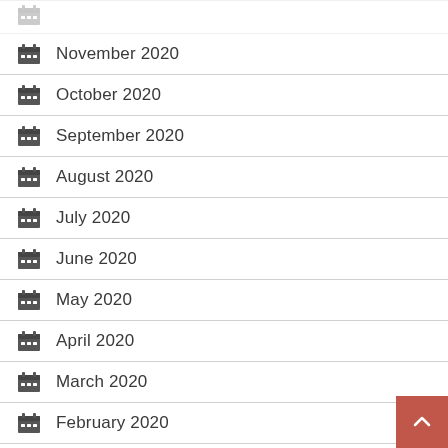November 2020
October 2020
September 2020
August 2020
July 2020
June 2020
May 2020
April 2020
March 2020
February 2020
January 2020
December 2019
November 2019